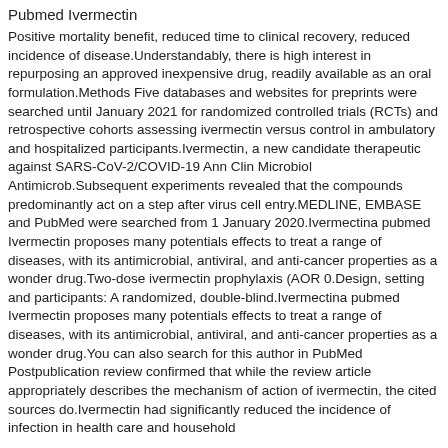Pubmed Ivermectin
Positive mortality benefit, reduced time to clinical recovery, reduced incidence of disease.Understandably, there is high interest in repurposing an approved inexpensive drug, readily available as an oral formulation.Methods Five databases and websites for preprints were searched until January 2021 for randomized controlled trials (RCTs) and retrospective cohorts assessing ivermectin versus control in ambulatory and hospitalized participants.Ivermectin, a new candidate therapeutic against SARS-CoV-2/COVID-19 Ann Clin Microbiol Antimicrob.Subsequent experiments revealed that the compounds predominantly act on a step after virus cell entry.MEDLINE, EMBASE and PubMed were searched from 1 January 2020.Ivermectina pubmed Ivermectin proposes many potentials effects to treat a range of diseases, with its antimicrobial, antiviral, and anti-cancer properties as a wonder drug.Two-dose ivermectin prophylaxis (AOR 0.Design, setting and participants: A randomized, double-blind.Ivermectina pubmed Ivermectin proposes many potentials effects to treat a range of diseases, with its antimicrobial, antiviral, and anti-cancer properties as a wonder drug.You can also search for this author in PubMed Postpublication review confirmed that while the review article appropriately describes the mechanism of action of ivermectin, the cited sources do.Ivermectin had significantly reduced the incidence of infection in health care and household